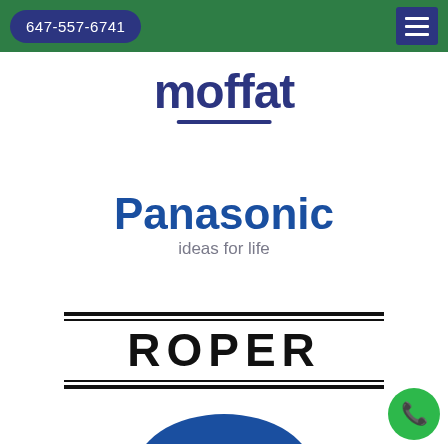647-557-6741
[Figure (logo): Moffat brand logo in dark blue bold text with underline]
[Figure (logo): Panasonic logo in blue bold text with tagline 'ideas for life' in gray]
[Figure (logo): Roper brand logo in black bold uppercase text with double border lines above and below]
[Figure (logo): Partial blue logo visible at bottom of page]
[Figure (other): Green circular phone call button/FAB in bottom right corner]